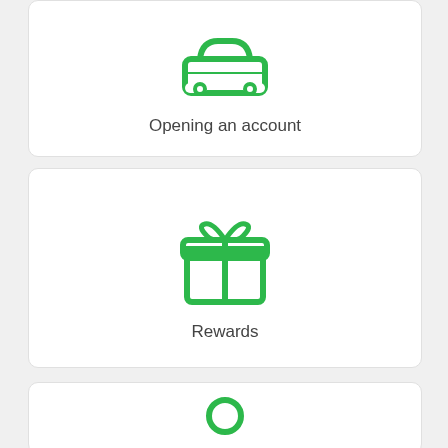[Figure (illustration): Green car icon representing opening an account]
Opening an account
[Figure (illustration): Green gift box icon representing rewards]
Rewards
[Figure (illustration): Green icon partially visible at bottom of page]